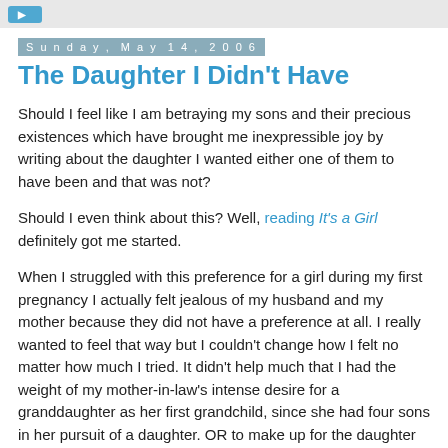[button]
Sunday, May 14, 2006
The Daughter I Didn't Have
Should I feel like I am betraying my sons and their precious existences which have brought me inexpressible joy by writing about the daughter I wanted either one of them to have been and that was not?
Should I even think about this? Well, reading It's a Girl definitely got me started.
When I struggled with this preference for a girl during my first pregnancy I actually felt jealous of my husband and my mother because they did not have a preference at all. I really wanted to feel that way but I couldn't change how I felt no matter how much I tried. It didn't help much that I had the weight of my mother-in-law's intense desire for a granddaughter as her first grandchild, since she had four sons in her pursuit of a daughter. OR to make up for the daughter she never had. I wanted a daughter for myself and